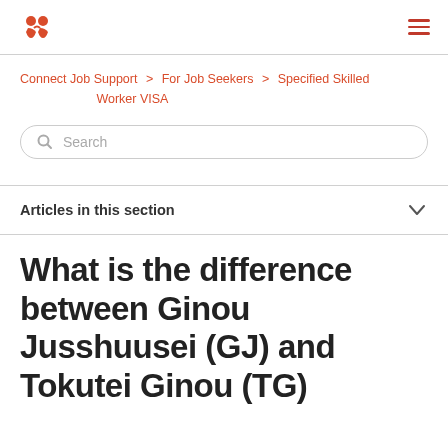[Figure (logo): Two figures icon in orange/red color representing people, with stylized 'm' shape]
≡ (hamburger menu)
Connect Job Support > For Job Seekers > Specified Skilled Worker VISA
Search
Articles in this section
What is the difference between Ginou Jusshuusei (GJ) and Tokutei Ginou (TG)